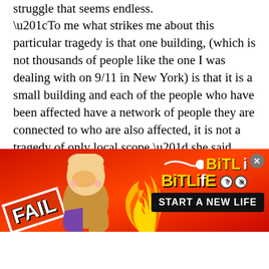struggle that seems endless.
“To me what strikes me about this particular tragedy is that one building, (which is not thousands of people like the one I was dealing with on 9/11 in New York) is that it is a small building and each of the people who have been affected have a network of people they are connected to who are also affected, it is not a tragedy of only local scope,” she said.
"*" indicates required fields
[Figure (screenshot): BitLife advertisement banner with red fiery background, FAIL text, cartoon character, flame graphic, BitLife logo in gold, and START A NEW LIFE button]